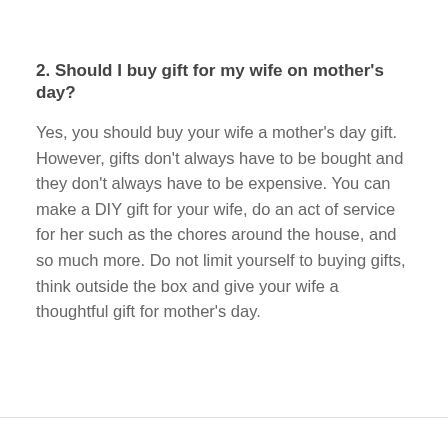2. Should I buy gift for my wife on mother's day?
Yes, you should buy your wife a mother's day gift. However, gifts don't always have to be bought and they don't always have to be expensive. You can make a DIY gift for your wife, do an act of service for her such as the chores around the house, and so much more. Do not limit yourself to buying gifts, think outside the box and give your wife a thoughtful gift for mother's day.